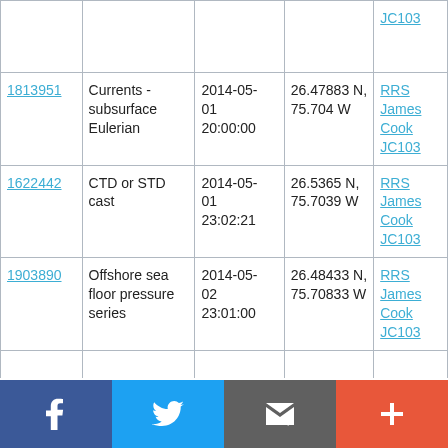| ID | Type | Date | Location | Vessel |
| --- | --- | --- | --- | --- |
|  |  |  |  | JC103 |
| 1813951 | Currents - subsurface Eulerian | 2014-05-01 20:00:00 | 26.47883 N, 75.704 W | RRS James Cook JC103 |
| 1622442 | CTD or STD cast | 2014-05-01 23:02:21 | 26.5365 N, 75.7039 W | RRS James Cook JC103 |
| 1903890 | Offshore sea floor pressure series | 2014-05-02 23:01:00 | 26.48433 N, 75.70833 W | RRS James Cook JC103 |
|  |  |  |  |  |